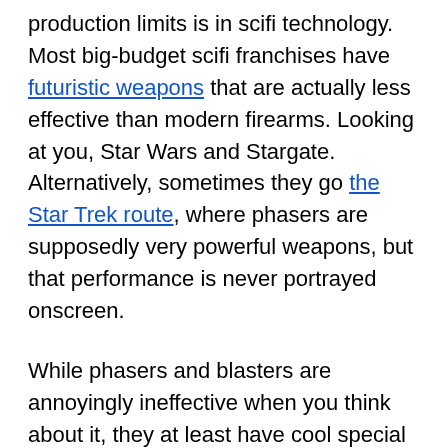production limits is in scifi technology. Most big-budget scifi franchises have futuristic weapons that are actually less effective than modern firearms. Looking at you, Star Wars and Stargate. Alternatively, sometimes they go the Star Trek route, where phasers are supposedly very powerful weapons, but that performance is never portrayed onscreen.
While phasers and blasters are annoyingly ineffective when you think about it, they at least have cool special effects going for them. If your prose character has a fancy space gun that works like a normal gun, it'll be both disappointing and confusing, as readers wonder why technology hasn't advanced in the far future. While it's always